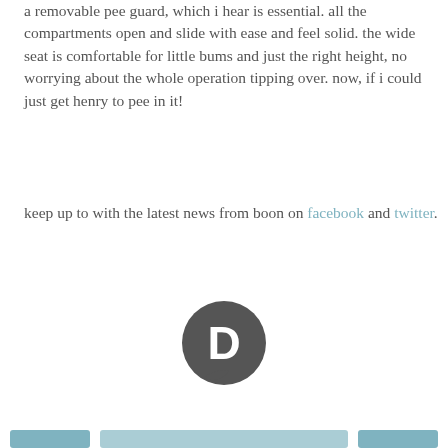a removable pee guard, which i hear is essential. all the compartments open and slide with ease and feel solid. the wide seat is comfortable for little bums and just the right height, no worrying about the whole operation tipping over. now, if i could just get henry to pee in it!
keep up to with the latest news from boon on facebook and twitter.
[Figure (logo): Disqus logo — dark grey circular speech bubble with a bold letter D inside]